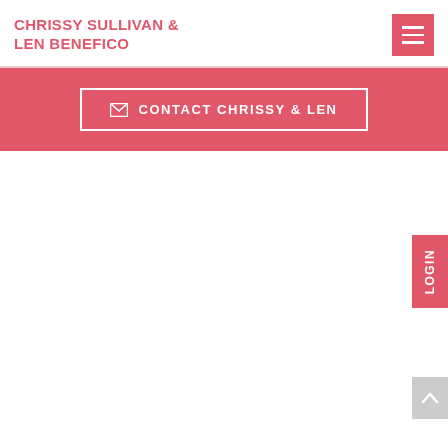CHRISSY SULLIVAN & LEN BENEFICO
[Figure (other): Hamburger menu icon button with three white horizontal lines on a pink/red background]
[Figure (other): Pink/red contact banner with envelope icon and button outline reading: CONTACT CHRISSY & LEN]
[Figure (other): Vertical LOGIN tab on right side, pink background with white text rotated 90 degrees]
[Figure (other): Scroll to top button, grey background with upward chevron arrow]